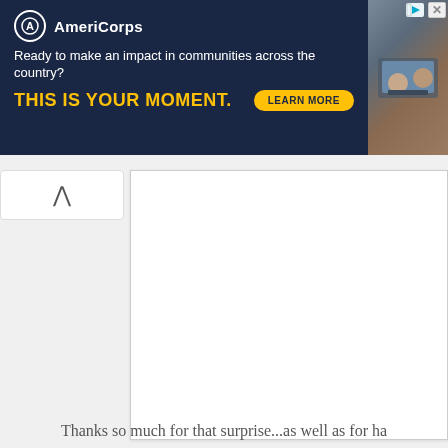[Figure (screenshot): AmeriCorps advertisement banner with dark navy background. Shows AmeriCorps logo, tagline 'Ready to make an impact in communities across the country?' and bold yellow text 'THIS IS YOUR MOMENT.' with a LEARN MORE button. Right side shows a photo of people working at computers.]
Thanks so much for that surprise...as well as for ha